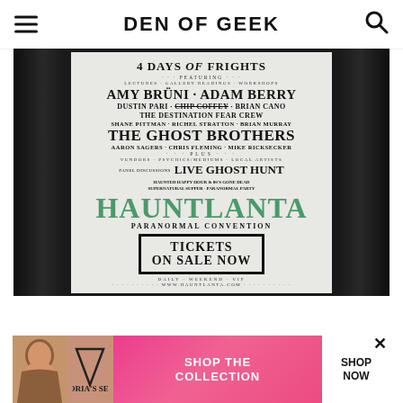DEN OF GEEK
[Figure (photo): Hauntlanta Paranormal Convention promotional poster showing '4 Days of Frights' event with featured guests including Amy Bruni, Adam Berry, Dustin Pari, Chip Coffey, Brian Cano, The Destination Fear Crew, Shane Pittman, Richel Stratton, Brian Murray, The Ghost Brothers, Aaron Sagers, Chris Fleming, Mike Ricksecker, plus Live Ghost Hunt and other events. Tickets on sale now at www.hauntlanta.com. Displayed on a stand with dark curtains in background.]
[Figure (photo): Victoria's Secret advertisement banner with woman model, VS logo, text 'SHOP THE COLLECTION' and 'SHOP NOW' button on pink/magenta background.]